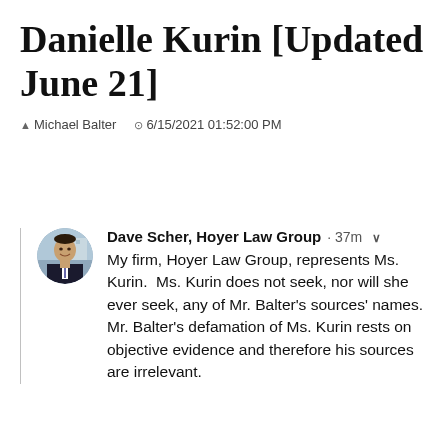Danielle Kurin [Updated June 21]
Michael Balter   6/15/2021 01:52:00 PM
[Figure (photo): Circular avatar photo of Dave Scher, a man in a dark suit with a tie, smiling, with a building and sky in the background.]
Dave Scher, Hoyer Law Group · 37m
My firm, Hoyer Law Group, represents Ms. Kurin.  Ms. Kurin does not seek, nor will she ever seek, any of Mr. Balter's sources' names.  Mr. Balter's defamation of Ms. Kurin rests on objective evidence and therefore his sources are irrelevant.